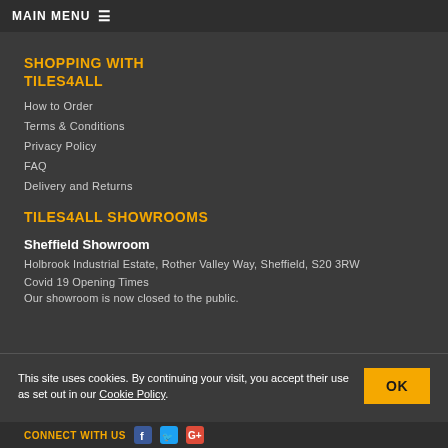MAIN MENU ≡
SHOPPING WITH TILES4ALL
How to Order
Terms & Conditions
Privacy Policy
FAQ
Delivery and Returns
TILES4ALL SHOWROOMS
Sheffield Showroom
Holbrook Industrial Estate, Rother Valley Way, Sheffield, S20 3RW
Covid 19 Opening Times
Our showroom is now closed to the public.
This site uses cookies. By continuing your visit, you accept their use as set out in our Cookie Policy.
CONNECT WITH US